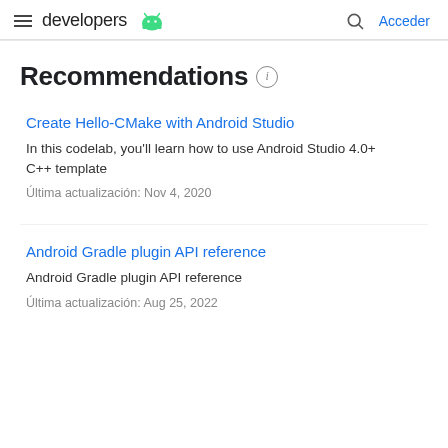developers  Acceder
Recommendations
Create Hello-CMake with Android Studio
In this codelab, you'll learn how to use Android Studio 4.0+ C++ template
Última actualización: Nov 4, 2020
Android Gradle plugin API reference
Android Gradle plugin API reference
Última actualización: Aug 25, 2022